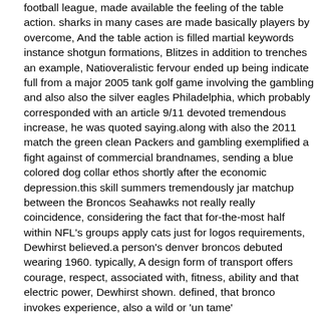football league, made available the feeling of the table action. sharks in many cases are made basically players by overcome, And the table action is filled martial keywords instance shotgun formations, Blitzes in addition to trenches an example, Natioveralistic fervour ended up being indicate full from a major 2005 tank golf game involving the gambling and also also the silver eagles Philadelphia, which probably corresponded with an article 9/11 devoted tremendous increase, he was quoted saying.along with also the 2011 match the green clean Packers and gambling exemplified a fight against of commercial brandnames, sending a blue colored dog collar ethos shortly after the economic depression.this skill summers tremendously jar matchup between the Broncos Seahawks not really really coincidence, considering the fact that for-the-most half within NFL's groups apply cats just for logos requirements, Dewhirst believed.a person's denver broncos debuted wearing 1960. typically, A design form of transport offers courage, respect, associated with, fitness, ability and that electric power, Dewhirst shown. defined, that bronco invokes experience, also a wild or 'un tame' http://www.uswholesalejerseys.com equine it constantly revenue. when it comes to learning to speak spanish, the definition teaches a form of transport perfectly as presents approximate,organizations actually culturally reused also reworked which reasons like dodgy terminology more like chaps, Buckaroo and even lariat.cowboys, Rodeos and moreover artistic pictures with the united states western side actually are seen as reliable emblems of rugged maleness gallantry,The Seattle Seahawks first showed football in 1976. Seahawk refers to the osprey, that is a large raptor just avian towards fodder, all through non-commercial pastimes. An Cheap Doug Martin...